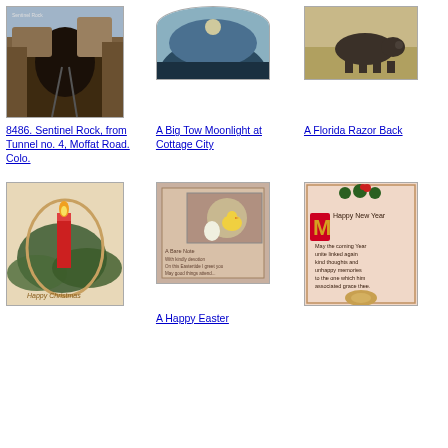[Figure (photo): Postcard: Sentinel Rock from Tunnel no. 4, Moffat Road, Colorado - view through tunnel opening showing rocky mountain formation]
8486. Sentinel Rock, from Tunnel no. 4, Moffat Road. Colo.
[Figure (photo): Postcard: oval-shaped photo of moonlit water scene at Cottage City]
A Big Tow Moonlight at Cottage City
[Figure (photo): Postcard: A Florida Razor Back pig/hog standing in sandy terrain]
A Florida Razor Back
[Figure (photo): Postcard: Christmas card with red candle and pine branches, text 'A Happy Christmas']
[Figure (photo): Postcard: Easter card with baby chick and egg, decorative text 'A Bare Note']
A Happy Easter
[Figure (photo): Postcard: New Year card with decorative border, holly, text 'Happy New Year' and verse beginning 'May the coming Year unite linked again kind thoughts']